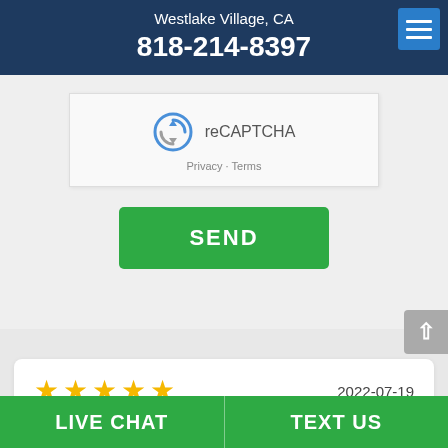Westlake Village, CA
818-214-8397
[Figure (screenshot): reCAPTCHA widget with circular arrow icon and text 'reCAPTCHA', with 'Privacy · Terms' links below]
SEND
[Figure (other): 5 gold stars rating with date 2022-07-19]
Everyone in this office is very personable
LIVE CHAT   TEXT US